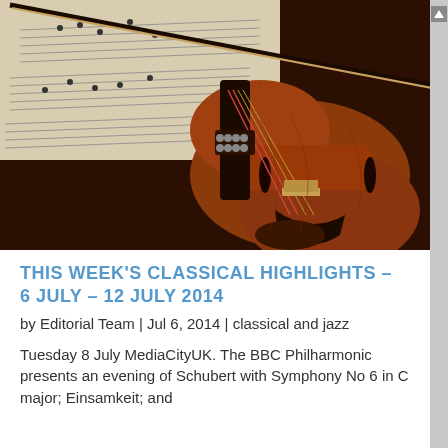[Figure (photo): Close-up photograph of a violin with bow and sheet music in the background. The violin's body, strings, bridge, and tailpiece are in focus with warm brown tones. Sheet music pages are visible behind the instrument.]
THIS WEEK'S CLASSICAL HIGHLIGHTS – 6 JULY – 12 JULY 2014
by Editorial Team | Jul 6, 2014 | classical and jazz
Tuesday 8 July MediaCityUK. The BBC Philharmonic presents an evening of Schubert with Symphony No 6 in C major; Einsamkeit; and